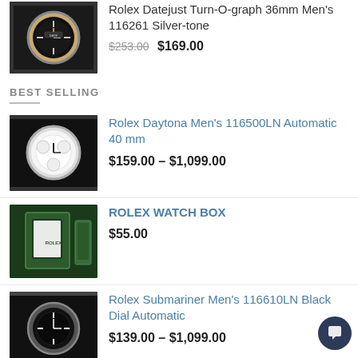[Figure (photo): Rolex Datejust watch thumbnail, gold and silver tone]
Rolex Datejust Turn-O-graph 36mm Men's 116261 Silver-tone
$253.00 $169.00
BEST SELLING
[Figure (photo): Rolex Daytona chronograph watch thumbnail, white dial]
Rolex Daytona Men's 116500LN Automatic 40 mm
$159.00 – $1,099.00
[Figure (photo): Rolex watch box, green box with papers]
ROLEX WATCH BOX
$55.00
[Figure (photo): Rolex Submariner watch thumbnail, black dial]
Rolex Submariner Men's 116610LN Black Dial Automatic
$139.00 – $1,099.00
[Figure (photo): Rolex Submariner watch thumbnail, green bezel]
Rolex Submariner Men's 116610LV Silver-tone Automatic 40 mm